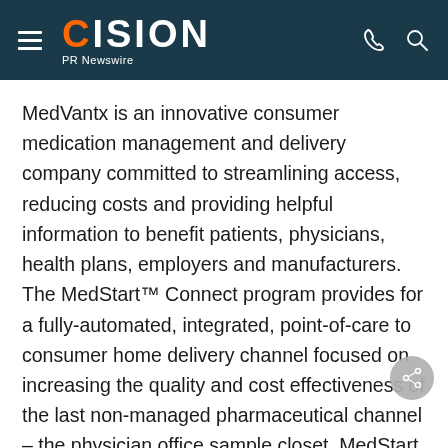CISION PR Newswire
MedVantx is an innovative consumer medication management and delivery company committed to streamlining access, reducing costs and providing helpful information to benefit patients, physicians, health plans, employers and manufacturers. The MedStart™ Connect program provides for a fully-automated, integrated, point-of-care to consumer home delivery channel focused on increasing the quality and cost effectiveness of the last non-managed pharmaceutical channel – the physician office sample closet. MedStart Connect includes free initial therapy samples of prescription and over-the-counter medication at the point of care, a consumer